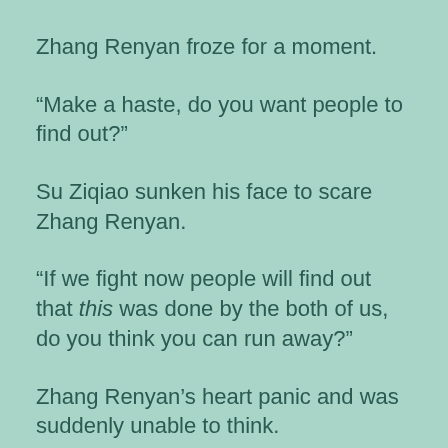Zhang Renyan froze for a moment.
“Make a haste, do you want people to find out?”
Su Ziqiao sunken his face to scare Zhang Renyan.
“If we fight now people will find out that this was done by the both of us, do you think you can run away?”
Zhang Renyan’s heart panic and was suddenly unable to think.
“Then, then what should we do?”